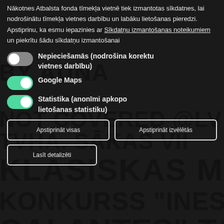Nākotnes Atbalsta fonda tīmekļa vietnē tiek izmantotas sīkdatnes, lai nodrošinātu tīmekļa vietnes darbību un labāku lietošanas pieredzi. Apstiprinu, ka esmu iepazinies ar Sīkdatņu izmantošanas noteikumiem un piekrītu šādu sīkdatņu izmantošanai
Nepieciešamās (nodrošina korektu vietnes darbību)
Google Maps
Statistika (anonīmi apkopo lietošanas statistiku)
Apstiprināt visas
Apstiprināt izvēlētās
Lasīt detalizēti